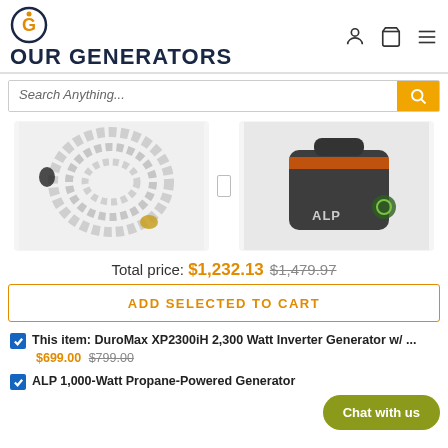OUR GENERATORS
Search Anything...
[Figure (photo): Two product images: a stainless steel braided hose/cable coil with brass fittings, and a black ALP branded bag/kit with orange accents]
Total price: $1,232.13  $1,479.97
ADD SELECTED TO CART
This item: DuroMax XP2300iH 2,300 Watt Inverter Generator w/ ... $699.00 $799.00
ALP 1,000-Watt Propane-Powered Generator
Chat with us